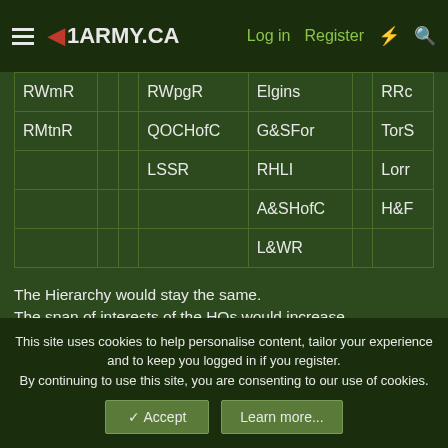1ARMY.CA   Log in   Register
| RWmR |  |  | RWpgR | Elgins |  | RRc |
| RMtnR |  |  | QOCHofC | G&SFor |  | TorS |
|  |  |  | LSSR | RHLI |  | Lorr |
|  |  |  |  | A&SHofC |  | H&F |
|  |  |  |  | L&WR |  |  |
The Hierarchy would stay the same.
The span of interests of the HQs would increase
Militia Regiments would primarily supply Infantry Coys for Territorial Defence.
They would also supply a Troop/Platoon for augmentation of the Expeditionary Army.
This site uses cookies to help personalise content, tailor your experience and to keep you logged in if you register.
By continuing to use this site, you are consenting to our use of cookies.